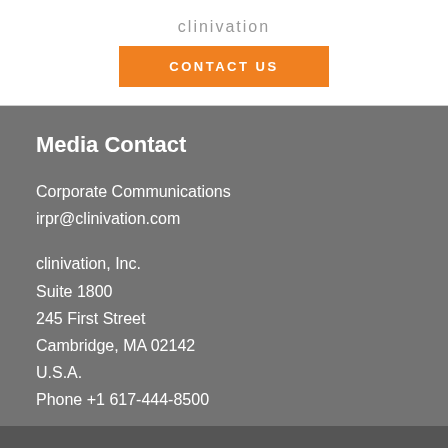clinivation
CONTACT US
Media Contact
Corporate Communications
irpr@clinivation.com
clinivation, Inc.
Suite 1800
245 First Street
Cambridge, MA 02142
U.S.A.
Phone +1 617-444-8500